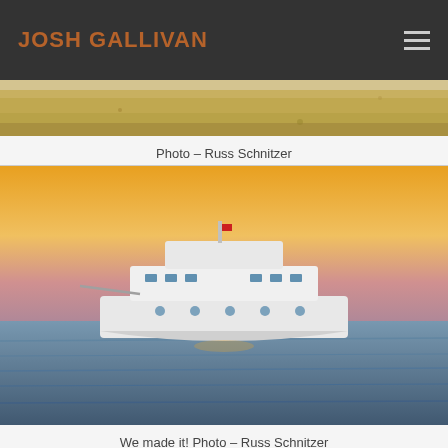JOSH GALLIVAN
[Figure (photo): Partial view of a sandy/brown surface, possibly desert or sandy water, cropped at top of frame]
Photo – Russ Schnitzer
[Figure (photo): A white motor yacht on open blue water at sunset with an orange sky in the background]
We made it! Photo – Russ Schnitzer
[Figure (photo): Partial view of a person, possibly wearing a cap, cropped at bottom of frame]